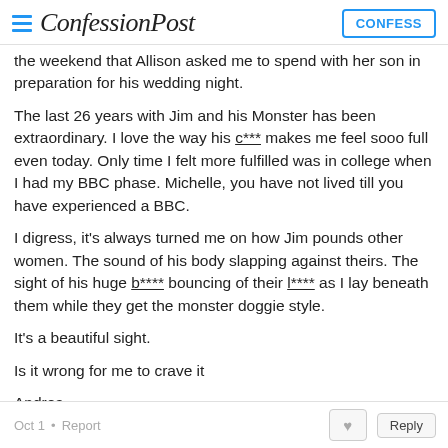ConfessionPost | CONFESS
the weekend that Allison asked me to spend with her son in preparation for his wedding night.
The last 26 years with Jim and his Monster has been extraordinary. I love the way his c*** makes me feel sooo full even today. Only time I felt more fulfilled was in college when I had my BBC phase. Michelle, you have not lived till you have experienced a BBC.
I digress, it's always turned me on how Jim pounds other women. The sound of his body slapping against theirs. The sight of his huge b**** bouncing of their l**** as I lay beneath them while they get the monster doggie style.
It's a beautiful sight.
Is it wrong for me to crave it
Andrea
Oct 1 • Report | ♥ | Reply